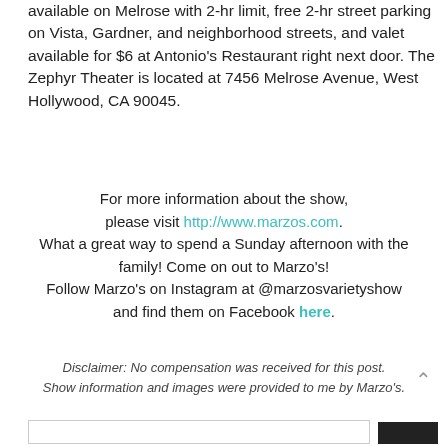available on Melrose with 2-hr limit, free 2-hr street parking on Vista, Gardner, and neighborhood streets, and valet available for $6 at Antonio's Restaurant right next door. The Zephyr Theater is located at 7456 Melrose Avenue, West Hollywood, CA 90045.
For more information about the show, please visit http://www.marzos.com. What a great way to spend a Sunday afternoon with the family! Come on out to Marzo's! Follow Marzo's on Instagram at @marzosvarietyshow and find them on Facebook here.
Disclaimer: No compensation was received for this post. Show information and images were provided to me by Marzo's.